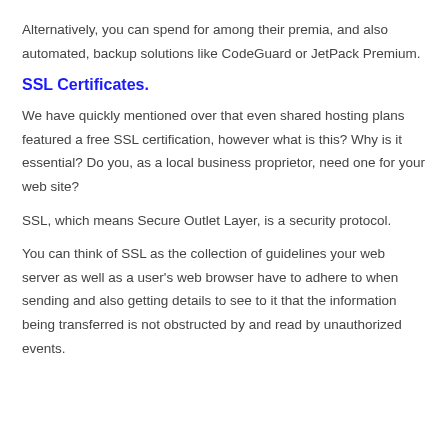Alternatively, you can spend for among their premia, and also automated, backup solutions like CodeGuard or JetPack Premium.
SSL Certificates.
We have quickly mentioned over that even shared hosting plans featured a free SSL certification, however what is this? Why is it essential? Do you, as a local business proprietor, need one for your web site?
SSL, which means Secure Outlet Layer, is a security protocol.
You can think of SSL as the collection of guidelines your web server as well as a user's web browser have to adhere to when sending and also getting details to see to it that the information being transferred is not obstructed by and read by unauthorized events.